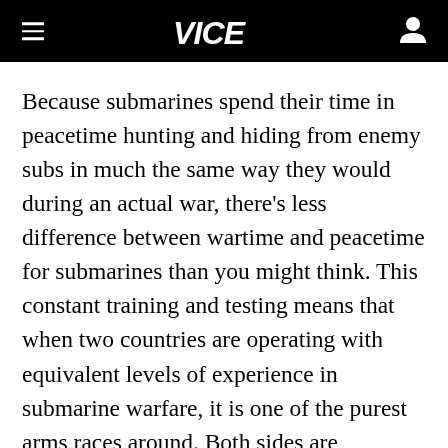VICE
Because submarines spend their time in peacetime hunting and hiding from enemy subs in much the same way they would during an actual war, there's less difference between wartime and peacetime for submarines than you might think. This constant training and testing means that when two countries are operating with equivalent levels of experience in submarine warfare, it is one of the purest arms races around. Both sides are continually trying to out-think, out-build, and out-maneuver each other.